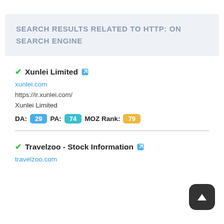SEARCH RESULTS RELATED TO HTTP: ON SEARCH ENGINE
✔Xunlei Limited 🔗
xunlei.com
https://ir.xunlei.com/
Xunlei Limited
DA: 29  PA: 74  MOZ Rank: 79
✔Travelzoo - Stock Information 🔗
travelzoo.com